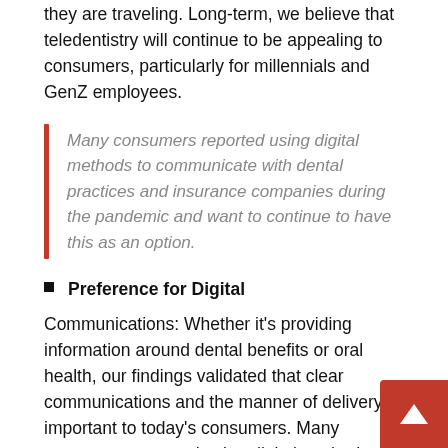they are traveling. Long-term, we believe that teledentistry will continue to be appealing to consumers, particularly for millennials and GenZ employees.
Many consumers reported using digital methods to communicate with dental practices and insurance companies during the pandemic and want to continue to have this as an option.
Preference for Digital
Communications: Whether it's providing information around dental benefits or oral health, our findings validated that clear communications and the manner of delivery is important to today's consumers. Many consumers reported using digital methods to communicate with dental practices and insurance companies during the pandemic and want to continue to have this as an option. For example, 69% said they want to use tech to get explanation of benefits, and 62% said they want to use tech to get information on oral health. This makes it equally